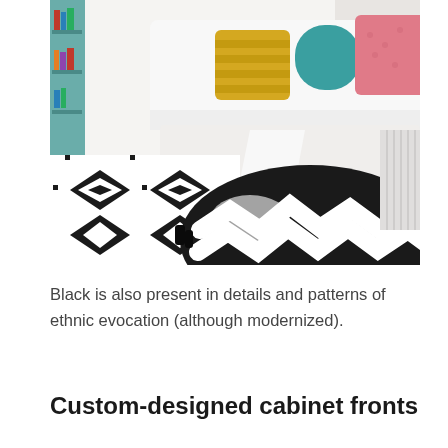[Figure (photo): A bright living room scene showing a white sofa with colorful cushions (yellow striped, teal, pink) and a black-and-white geometric patterned rug on the floor, with a large black-and-white chevron/ethnic-pattern round cushion or blanket in the foreground.]
Black is also present in details and patterns of ethnic evocation (although modernized).
Custom-designed cabinet fronts